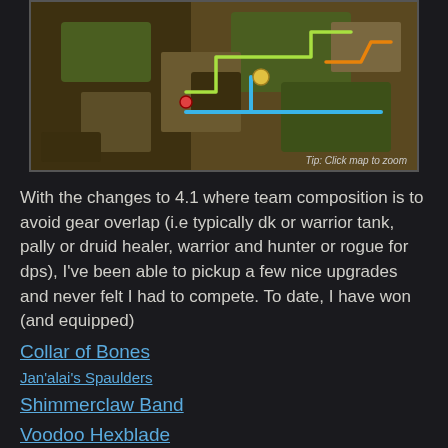[Figure (map): Game map screenshot with colored path lines (blue, green, orange) overlaid on a dungeon/zone map. Tip text reads 'Tip: Click map to zoom' in bottom right corner.]
With the changes to 4.1 where team composition is to avoid gear overlap (i.e typically dk or warrior tank, pally or druid healer, warrior and hunter or rogue for dps), I've been able to pickup a few nice upgrades and never felt I had to compete. To date, I have won (and equipped)
Collar of Bones
Jan'alai's Spaulders
Shimmerclaw Band
Voodoo Hexblade
and the 24 slot bag, quest reward. These items pushed my iLevel up 2 points from 351 to 353. I'd still love to pickup the wrists; from one of the to-be sacrificed prisoner's own belongs (boss 2). The Armani War bear mount would be